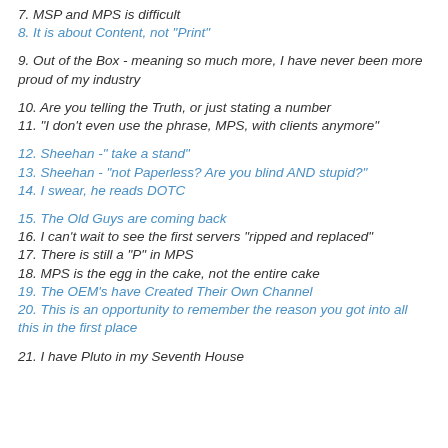7. MSP and MPS is difficult
8. It is about Content, not "Print"
9. Out of the Box - meaning so much more, I have never been more proud of my industry
10. Are you telling the Truth, or just stating a number
11. "I don't even use the phrase, MPS, with clients anymore"
12. Sheehan -" take a stand"
13. Sheehan - "not Paperless? Are you blind AND stupid?"
14. I swear, he reads DOTC
15. The Old Guys are coming back
16. I can't wait to see the first servers "ripped and replaced"
17. There is still a "P" in MPS
18. MPS is the egg in the cake, not the entire cake
19. The OEM's have Created Their Own Channel
20. This is an opportunity to remember the reason you got into all this in the first place
21. I have Pluto in my Seventh House